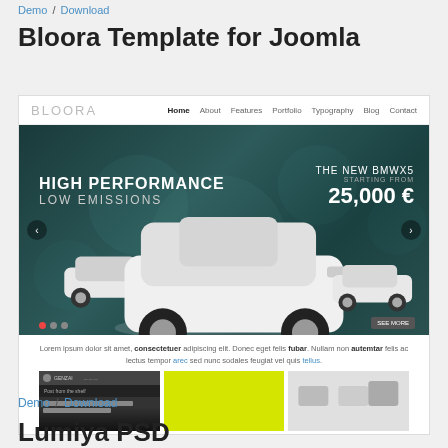Demo / Download
Bloora Template for Joomla
[Figure (screenshot): Screenshot of Bloora Joomla template showing navigation bar with BLOORA logo, a hero slider featuring BMW X5 cars with text 'HIGH PERFORMANCE LOW EMISSIONS' and 'THE NEW BMWX5 STARTING FROM 25,000 €', lorem ipsum text, and three thumbnail previews below.]
Demo / Download
Lumiya PSD